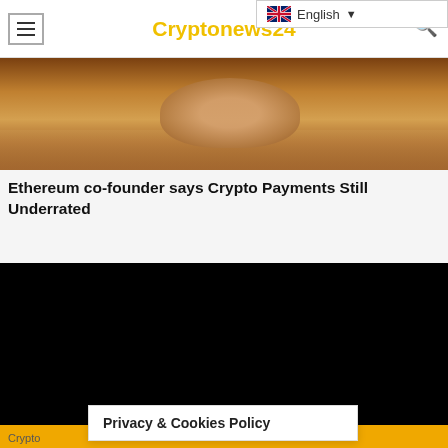Cryptonews24
[Figure (photo): Partial photograph showing hands, likely holding cryptocurrency or related object, warm tones]
Ethereum co-founder says Crypto Payments Still Underrated
[Figure (screenshot): Black rectangle, likely a video player or embedded media]
TELEGRAM
Privacy & Cookies Policy